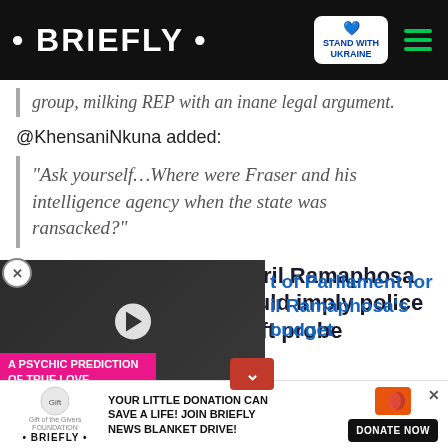• BRIEFLY • | STAND WITH UKRAINE
group, milking REP with an inane legal argument.
@KhensaniNkuna added:
“Ask yourself…Where were Fraser and his intelligence agency when the state was ransacked?”
Farmgate: President Cyril Ramaphosa says stepping aside could imply police interference in farm theft probe
[Figure (screenshot): Video thumbnail overlay with psychic prediction promo, partially covering article content, with down-arrow button]
t of Parliament for il Ramaphosa’s budget
YOUR LITTLE DONATION CAN SAVE A LIFE! JOIN BRIEFLY NEWS BLANKET DRIVE! DONATE NOW